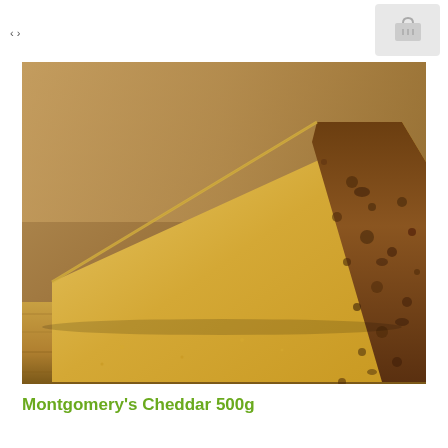< >
[Figure (photo): Close-up photograph of a wedge of aged Montgomery's Cheddar cheese on a wooden board, showing the natural rustic rind with brown mold and the pale yellow interior paste.]
Montgomery's Cheddar 500g